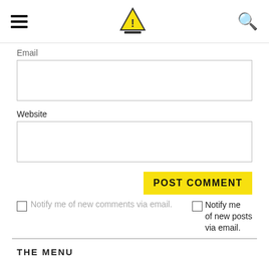Navigation header with hamburger menu, logo, and search icon
Email
Website
POST COMMENT
Notify me of new comments via email.
Notify me of new posts via email.
THE MENU